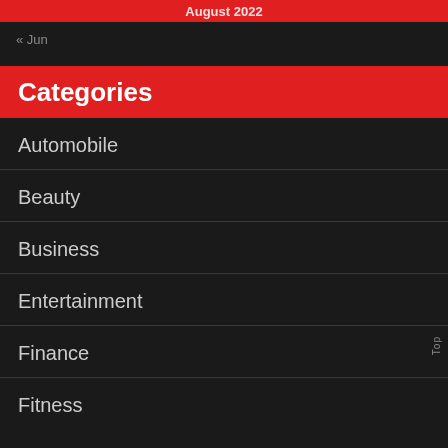August 2022
« Jun
Categories
Automobile
Beauty
Business
Entertainment
Finance
Fitness